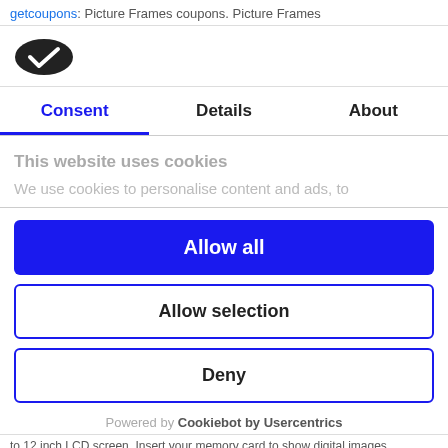getcoupons: Picture Frames coupons. Picture Frames
[Figure (logo): Cookiebot logo - dark oval shape with checkmark]
Consent | Details | About
This website uses cookies
We use cookies to personalise content and ads, to
Allow all
Allow selection
Deny
Powered by Cookiebot by Usercentrics
to 12 inch LCD screen. Insert your memory card to show digital images